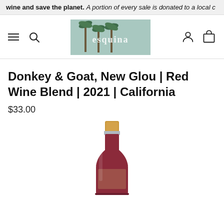wine and save the planet. A portion of every sale is donated to a local c
[Figure (logo): Esquina wine shop logo with palm trees on teal/sky background]
Donkey & Goat, New Glou | Red Wine Blend | 2021 | California
$33.00
[Figure (photo): Top portion of a red wine bottle showing gold foil capsule and shoulder of the bottle]